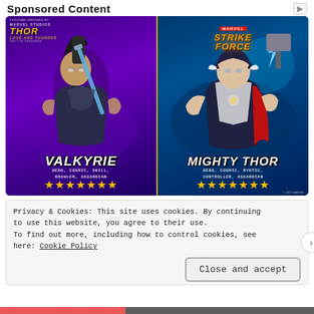Sponsored Content
[Figure (illustration): Marvel Strike Force game advertisement featuring Valkyrie (Hero, Cosmic, Skill, Brawler, Asgardian - 7 stars) and Mighty Thor (Hero, Cosmic, Mystic, Controller, Asgardian - 7 stars) characters, with Thor Love and Thunder movie branding and Marvel Strike Force logo.]
Privacy & Cookies: This site uses cookies. By continuing to use this website, you agree to their use.
To find out more, including how to control cookies, see here: Cookie Policy
Close and accept